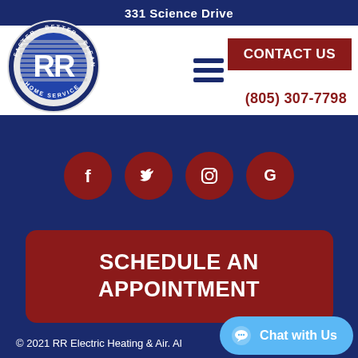331 Science Drive
[Figure (logo): RR Electric Heating & Air circular logo with text 'Faster Better Cleaner Home Service' around the border and RR letters in blue 3D style in the center]
CONTACT US
(805) 307-7798
[Figure (infographic): Social media icons row: Facebook, Twitter, Instagram, Google - all white icons on dark red circular backgrounds]
SCHEDULE AN APPOINTMENT
© 2021 RR Electric Heating & Air. Al
[Figure (infographic): Chat with Us button - light blue rounded pill button with chat bubble icon]